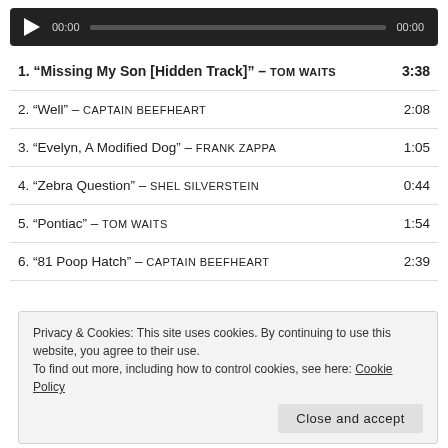[Figure (other): Audio player widget with play button, time display 00:00, progress bar, and end time 00:00 on dark background]
1. “Missing My Son [Hidden Track]” – TOM WAITS  3:38
2. “Well” – CAPTAIN BEEFHEART  2:08
3. “Evelyn, A Modified Dog” – FRANK ZAPPA  1:05
4. “Zebra Question” – SHEL SILVERSTEIN  0:44
5. “Pontiac” – TOM WAITS  1:54
6. “81 Poop Hatch” – CAPTAIN BEEFHEART  2:39
Privacy & Cookies: This site uses cookies. By continuing to use this website, you agree to their use.
To find out more, including how to control cookies, see here: Cookie Policy